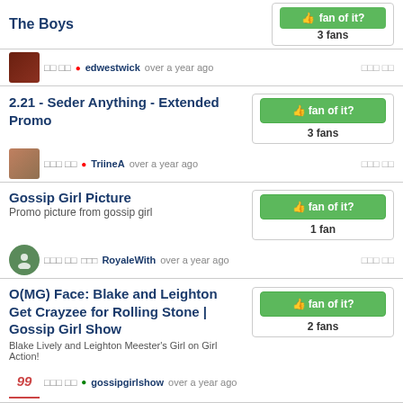The Boys — 3 fans — edwestwick over a year ago
2.21 - Seder Anything - Extended Promo
3 fans — TriineA over a year ago
Gossip Girl Picture
Promo picture from gossip girl
1 fan — RoyaleWith over a year ago
O(MG) Face: Blake and Leighton Get Crayzee for Rolling Stone | Gossip Girl Show
Blake Lively and Leighton Meester's Girl on Girl Action!
2 fans — gossipgirlshow over a year ago
« 이전 ... 11 12 13 14 15 16 17 18 19 20 21 22 23 24 25 26 27 28 29 30 31 32 33 34 35 36 37 38 39 40 41 42 43 44 45 46 47 48 49 50 51 52 53 54 55 56 57 58 59 60 61 62 63 다음 »